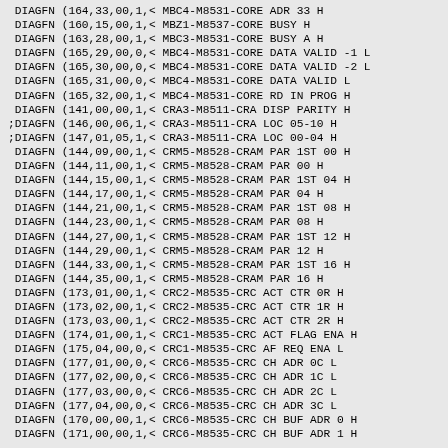DIAGFN (164,33,00,1,< MBC4-M8531-CORE ADR 33 H
 DIAGFN (160,15,00,1,< MBZ1-M8537-CORE BUSY H
 DIAGFN (163,28,00,1,< MBC3-M8531-CORE BUSY A H
 DIAGFN (165,29,00,0,< MBC4-M8531-CORE DATA VALID -1 L
 DIAGFN (165,30,00,0,< MBC4-M8531-CORE DATA VALID -2 L
 DIAGFN (165,31,00,0,< MBC4-M8531-CORE DATA VALID L
 DIAGFN (165,32,00,1,< MBC4-M8531-CORE RD IN PROG H
 DIAGFN (141,00,00,1,< CRA3-M8511-CRA DISP PARITY H
;DIAGFN (146,00,06,1,< CRA3-M8511-CRA LOC 05-10 H
;DIAGFN (147,01,05,1,< CRA3-M8511-CRA LOC 00-04 H
 DIAGFN (144,09,00,1,< CRM5-M8528-CRAM PAR 1ST 00 H
 DIAGFN (144,11,00,1,< CRM5-M8528-CRAM PAR 00 H
 DIAGFN (144,15,00,1,< CRM5-M8528-CRAM PAR 1ST 04 H
 DIAGFN (144,17,00,1,< CRM5-M8528-CRAM PAR 04 H
 DIAGFN (144,21,00,1,< CRM5-M8528-CRAM PAR 1ST 08 H
 DIAGFN (144,23,00,1,< CRM5-M8528-CRAM PAR 08 H
 DIAGFN (144,27,00,1,< CRM5-M8528-CRAM PAR 1ST 12 H
 DIAGFN (144,29,00,1,< CRM5-M8528-CRAM PAR 12 H
 DIAGFN (144,33,00,1,< CRM5-M8528-CRAM PAR 1ST 16 H
 DIAGFN (144,35,00,1,< CRM5-M8528-CRAM PAR 16 H
 DIAGFN (173,01,00,1,< CRC2-M8535-CRC ACT CTR 0R H
 DIAGFN (173,02,00,1,< CRC2-M8535-CRC ACT CTR 1R H
 DIAGFN (173,03,00,1,< CRC2-M8535-CRC ACT CTR 2R H
 DIAGFN (174,01,00,1,< CRC1-M8535-CRC ACT FLAG ENA H
 DIAGFN (175,04,00,0,< CRC1-M8535-CRC AF REQ ENA L
 DIAGFN (177,01,00,0,< CRC6-M8535-CRC CH ADR 0C L
 DIAGFN (177,02,00,0,< CRC6-M8535-CRC CH ADR 1C L
 DIAGFN (177,03,00,0,< CRC6-M8535-CRC CH ADR 2C L
 DIAGFN (177,04,00,0,< CRC6-M8535-CRC CH ADR 3C L
 DIAGFN (170,00,00,1,< CRC6-M8535-CRC CH BUF ADR 0 H
 DIAGFN (171,00,00,1,< CRC6-M8535-CRC CH BUF ADR 1 H